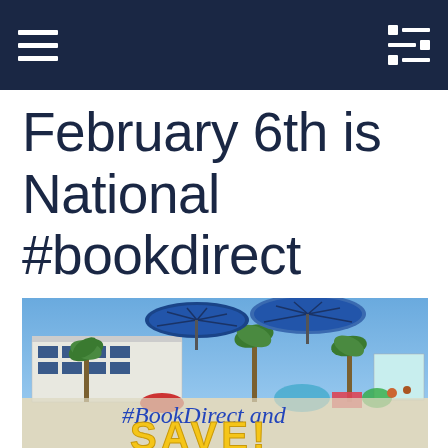[Navigation bar with hamburger menu and filter icon]
February 6th is National #bookdirect Day!
[Figure (photo): Beach scene with blue umbrellas, beach house, palm trees, people, and overlaid text reading '#BookDirect and SAVE!']